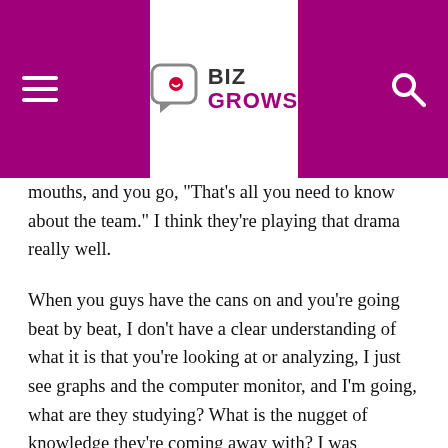BIZ GROWS
mouths, and you go, "That's all you need to know about the team." I think they're playing that drama really well.
When you guys have the cans on and you're going beat by beat, I don't have a clear understanding of what it is that you're looking at or analyzing, I just see graphs and the computer monitor, and I'm going, what are they studying? What is the nugget of knowledge they're coming away with? I was thinking, if they could, they'd do the same thing with American football wide receivers. At what point is that wide receiver losing speed? If it's in the third quarter you could get him out if he's losing speed. Your endeavor